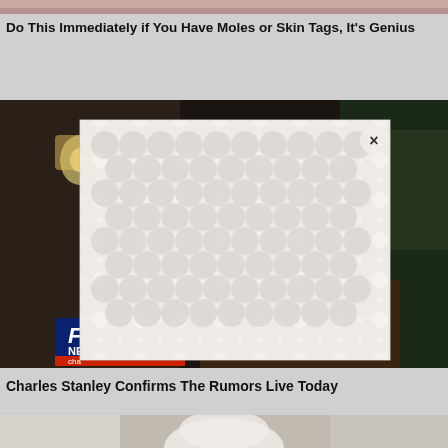[Figure (photo): Top cropped portion of a person (appears to be a woman's face/chin area), partially visible at very top of page]
Do This Immediately if You Have Moles or Skin Tags, It's Genius
[Figure (screenshot): Fox News channel video thumbnail showing indoor scene (living room setting) with Fox News channel logo visible in bottom left corner. A popup/modal overlay appears on top with a decorative bubble/circle pattern background and an X close button in the top right corner of the popup.]
Charles Stanley Confirms The Rumors Live Today
[Figure (photo): Bottom portion of a page showing an elderly person with white/gray hair, partially cropped, appearing to be in an indoor setting]